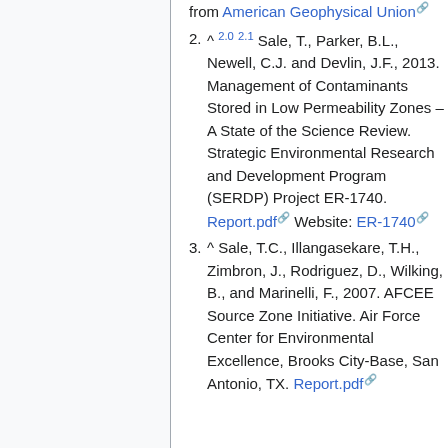from American Geophysical Union
2. ^ 2.0 2.1 Sale, T., Parker, B.L., Newell, C.J. and Devlin, J.F., 2013. Management of Contaminants Stored in Low Permeability Zones – A State of the Science Review. Strategic Environmental Research and Development Program (SERDP) Project ER-1740. Report.pdf Website: ER-1740
3. ^ Sale, T.C., Illangasekare, T.H., Zimbron, J., Rodriguez, D., Wilking, B., and Marinelli, F., 2007. AFCEE Source Zone Initiative. Air Force Center for Environmental Excellence, Brooks City-Base, San Antonio, TX. Report.pdf